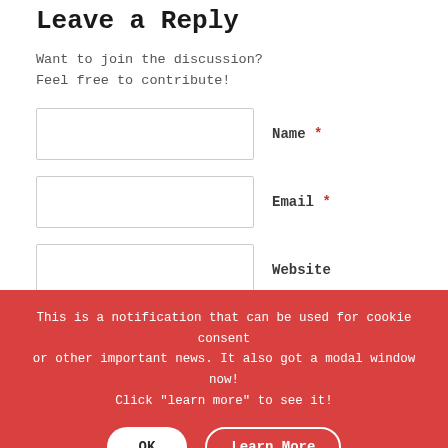Leave a Reply
Want to join the discussion?
Feel free to contribute!
Name *
Email *
Website
Save my name, email, and website in this browser for the next time I comment.
This is a notification that can be used for cookie consent or other important news. It also got a modal window now! Click "learn more" to see it!
OK
Learn More